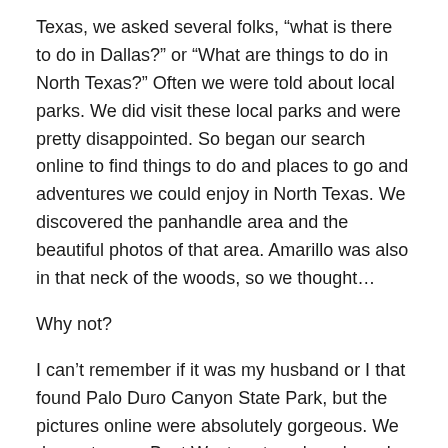Texas, we asked several folks, “what is there to do in Dallas?” or “What are things to do in North Texas?” Often we were told about local parks. We did visit these local parks and were pretty disappointed. So began our search online to find things to do and places to go and adventures we could enjoy in North Texas. We discovered the panhandle area and the beautiful photos of that area. Amarillo was also in that neck of the woods, so we thought…
Why not?
I can’t remember if it was my husband or I that found Palo Duro Canyon State Park, but the pictures online were absolutely gorgeous. We dug out some Best Western travel cards and found a pet-friendly Hotel in Canyon Texas.  We prefer a Hotel to other accommodations.  After